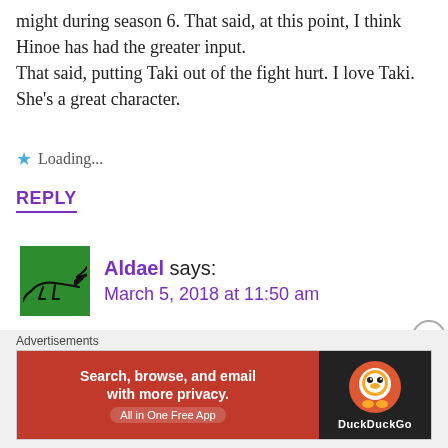might during season 6.  That said, at this point, I think Hinoe has had the greater input.
That said, putting Taki out of the fight hurt. I love Taki. She’s a great character.
Loading...
REPLY
Aldael says:
March 5, 2018 at 11:50 am
Yeah, no matter how you think, both choices are painful. And it’s only the first match of the first round...
Advertisements
[Figure (infographic): DuckDuckGo advertisement banner: orange/red left section with text 'Search, browse, and email with more privacy. All in One Free App' and dark right section with DuckDuckGo logo]